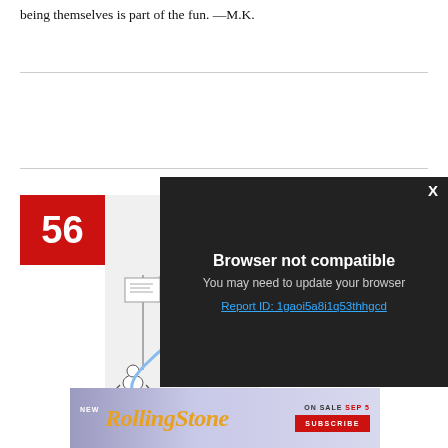being themselves is part of the fun. —M.K.
[Figure (illustration): Illustration showing stylized figures including a teal humanoid figure and a bald figure seated, with a small creature at bottom, in a sketchy line-art style. Red box with number 56 overlaid at top-left.]
[Figure (screenshot): Browser not compatible overlay dialog with dark background. Title: 'Browser not compatible'. Body: 'You may need to update your browser'. Link: 'Report ID: 1gaoi5a8i1q53thhgcd'. X close button in top right.]
[Figure (illustration): Rolling Stone magazine advertisement banner. Text: 'NEW RollingStone ON SALE SEP 5 SUBSCRIBE']